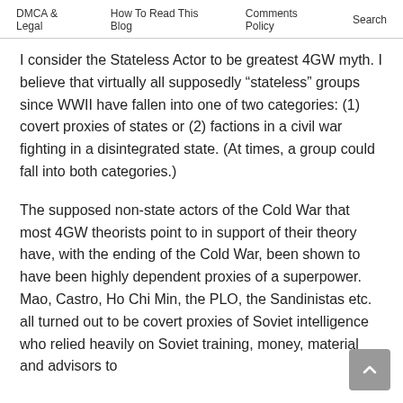DMCA & Legal  How To Read This Blog  Comments Policy  Search
I consider the Stateless Actor to be greatest 4GW myth. I believe that virtually all supposedly “stateless” groups since WWII have fallen into one of two categories: (1) covert proxies of states or (2) factions in a civil war fighting in a disintegrated state. (At times, a group could fall into both categories.)
The supposed non-state actors of the Cold War that most 4GW theorists point to in support of their theory have, with the ending of the Cold War, been shown to have been highly dependent proxies of a superpower. Mao, Castro, Ho Chi Min, the PLO, the Sandinistas etc. all turned out to be covert proxies of Soviet intelligence who relied heavily on Soviet training, money, material and advisors to